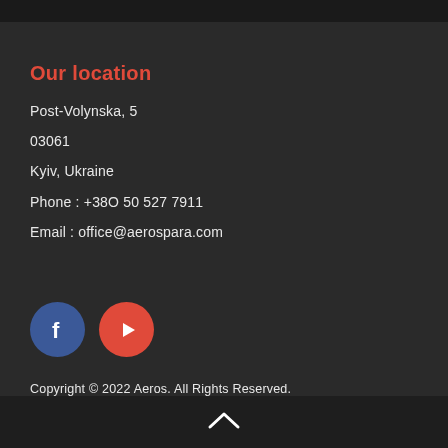Our location
Post-Volynska, 5
03061
Kyiv, Ukraine
Phone : +380 50 527 7911
Email : office@aerospara.com
[Figure (logo): Facebook and YouTube social media icons as circular buttons]
Copyright © 2022 Aeros. All Rights Reserved.
Designed and development by Bowthemes.com